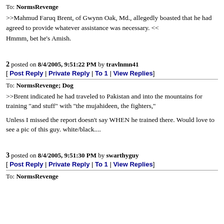To: NormsRevenge
>>Mahmud Faruq Brent, of Gwynn Oak, Md., allegedly boasted that he had agreed to provide whatever assistance was necessary. <<
Hmmm, bet he's Amish.
2 posted on 8/4/2005, 9:51:22 PM by travlnmn41
[ Post Reply | Private Reply | To 1 | View Replies]
To: NormsRevenge; Dog
>>Brent indicated he had traveled to Pakistan and into the mountains for training "and stuff" with "the mujahideen, the fighters,"
Unless I missed the report doesn't say WHEN he trained there. Would love to see a pic of this guy. white/black....
3 posted on 8/4/2005, 9:51:30 PM by swarthyguy
[ Post Reply | Private Reply | To 1 | View Replies]
To: NormsRevenge